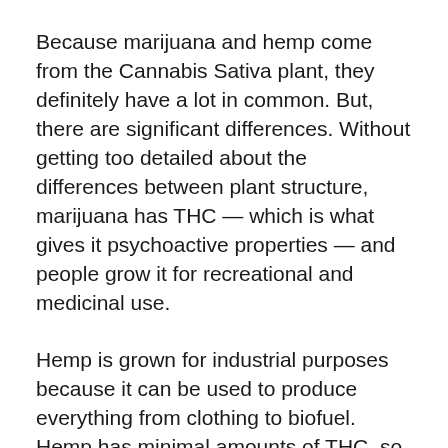Because marijuana and hemp come from the Cannabis Sativa plant, they definitely have a lot in common. But, there are significant differences. Without getting too detailed about the differences between plant structure, marijuana has THC — which is what gives it psychoactive properties — and people grow it for recreational and medicinal use.
Hemp is grown for industrial purposes because it can be used to produce everything from clothing to biofuel. Hemp has minimal amounts of THC, so it doesn't get you high. However, like marijuana, it does have CBD which can be used for medicinal purposes.
Simply put, hemp is a Cannabis Sativa plant